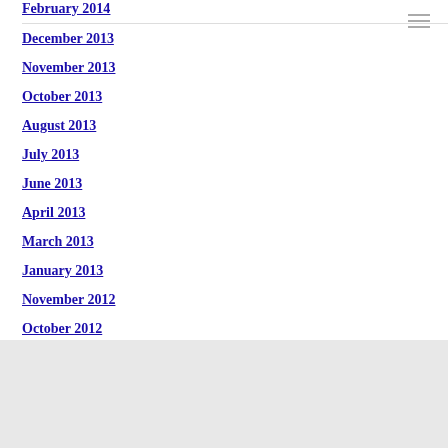February 2014
December 2013
November 2013
October 2013
August 2013
July 2013
June 2013
April 2013
March 2013
January 2013
November 2012
October 2012
September 2012
August 2012